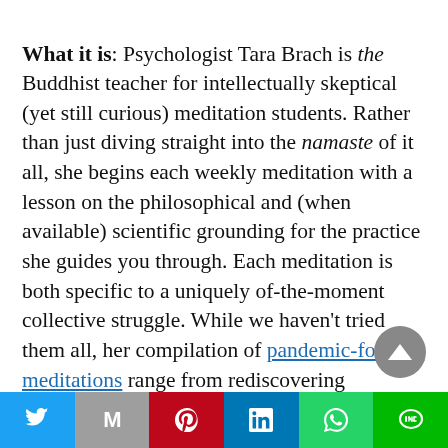What it is: Psychologist Tara Brach is the Buddhist teacher for intellectually skeptical (yet still curious) meditation students. Rather than just diving straight into the namaste of it all, she begins each weekly meditation with a lesson on the philosophical and (when available) scientific grounding for the practice she guides you through. Each meditation is both specific to a uniquely of-the-moment collective struggle. While we haven't tried them all, her compilation of pandemic-focused meditations range from rediscovering aliveness to radical acceptance. For more visual learners, Brach's YouTube channel also has video versions of
[Figure (other): Scroll-to-top button: grey circular button with white upward-pointing triangle]
Twitter | Gmail | Pinterest | LinkedIn | WhatsApp | Line